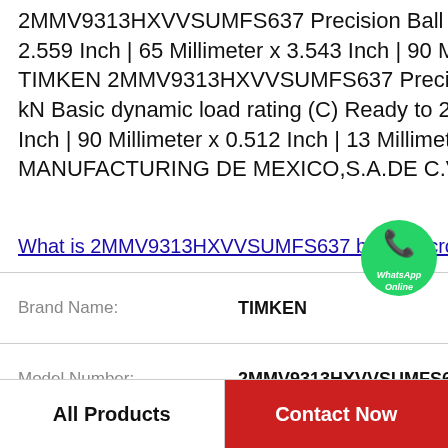2MMV9313HXVVSUMFS637 Precision Ball Bearings Expert.More Choices. 2.559 Inch | 65 Millimeter x 3.543 Inch | 90 Millimeter x 0.512 Inch | 13 Millimeter TIMKEN 2MMV9313HXVVSUMFS637 Precision Ball Bearings in Stock & 9 950 kN Basic dynamic load rating (C) Ready to 2.559 Inch | 65 Millimeter x 3.543 Inch | 90 Millimeter x 0.512 Inch | 13 Millimeter Ship Now! NTN BEARING MANUFACTURING DE MEXICO,S.A.DE C.V.
What is 2MMV9313HXVVSUMFS637 bearing cross re...
| Field | Value |
| --- | --- |
| Brand Name: | TIMKEN |
| Model Number: | 2MMV9313HXVVSUMFS637 |
| Brand: | NTN |
| Calculation factor (Y0): | 1,71 |
All Products
Contact Now